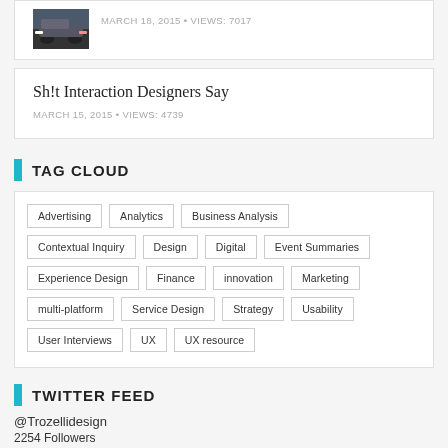[Figure (photo): Thumbnail image of a car, dark/nighttime scene]
MARCH 18, 2015 • VIEWS: 7017
Sh!t Interaction Designers Say
MARCH 15, 2015 • VIEWS: 4739
TAG CLOUD
Advertising
Analytics
Business Analysis
Contextual Inquiry
Design
Digital
Event Summaries
Experience Design
Finance
innovation
Marketing
multi-platform
Service Design
Strategy
Usability
User Interviews
UX
UX resource
TWITTER FEED
@Trozellidesign
2254 Followers